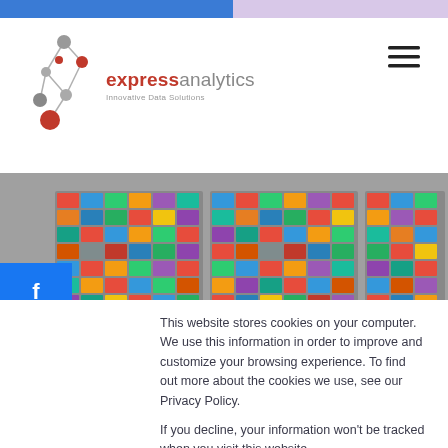[Figure (logo): Express Analytics logo with network graph icon and text 'expressanalytics Innovative Data Solutions']
[Figure (photo): Hero image: large mosaic collage of colorful photos displayed on three curved panels, with 'MACHINE' text partially visible at bottom]
[Figure (infographic): Social media share buttons sidebar: Facebook (blue), Twitter (blue), LinkedIn (dark blue)]
This website stores cookies on your computer. We use this information in order to improve and customize your browsing experience. To find out more about the cookies we use, see our Privacy Policy.
If you decline, your information won't be tracked when you visit this website.